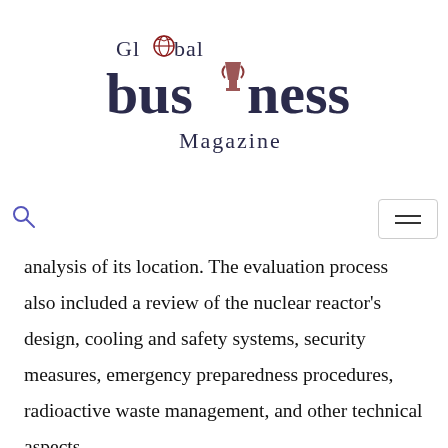[Figure (logo): Global Business Magazine logo with globe icon replacing 'o' in Global, trophy shape for 'i' in business, dark navy serif text]
analysis of its location. The evaluation process also included a review of the nuclear reactor's design, cooling and safety systems, security measures, emergency preparedness procedures, radioactive waste management, and other technical aspects.

The authority reviewed the 14,000-page license